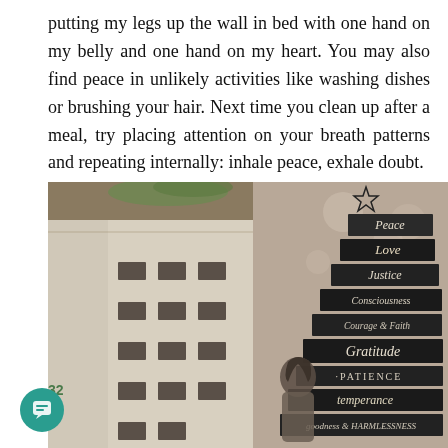putting my legs up the wall in bed with one hand on my belly and one hand on my heart. You may also find peace in unlikely activities like washing dishes or brushing your hair. Next time you clean up after a meal, try placing attention on your breath patterns and repeating internally: inhale peace, exhale doubt.
[Figure (photo): Two side-by-side photos: left shows a white architectural building exterior with rectangular window cutouts; right shows a woman looking down next to a wooden stacked-board Christmas tree with words: Peace, Love, Justice, Consciousness, Courage & Faith, Gratitude, Patience, Temperance, Harmlessness, and others.]
32